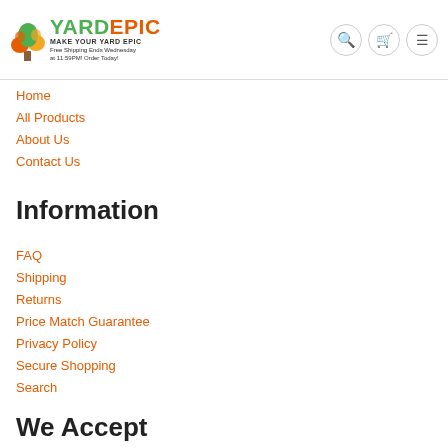YARDEPIC — MAKE YOUR YARD EPIC — Free Shipping Ends Wednesday at 11:59PM! Order Today!
Home
All Products
About Us
Contact Us
Information
FAQ
Shipping
Returns
Price Match Guarantee
Privacy Policy
Secure Shopping
Search
We Accept